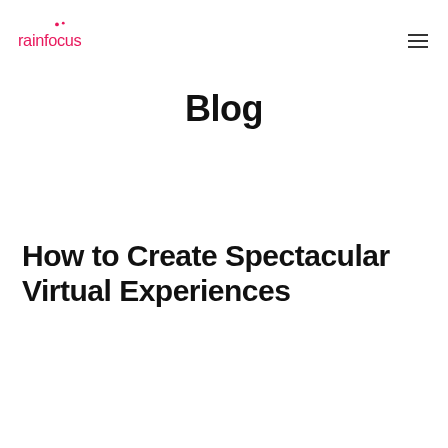rainfocus
Blog
How to Create Spectacular Virtual Experiences